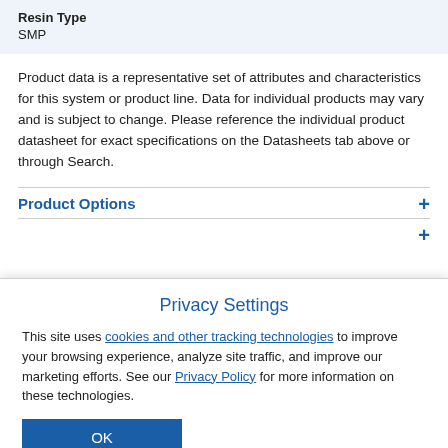| Resin Type |
| --- |
| SMP |
Product data is a representative set of attributes and characteristics for this system or product line. Data for individual products may vary and is subject to change. Please reference the individual product datasheet for exact specifications on the Datasheets tab above or through Search.
Product Options
Privacy Settings
This site uses cookies and other tracking technologies to improve your browsing experience, analyze site traffic, and improve our marketing efforts. See our Privacy Policy for more information on these technologies.